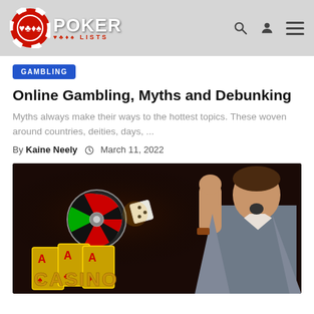POKER LISTS
GAMBLING
Online Gambling, Myths and Debunking
Myths always make their ways to the hottest topics. These woven around countries, deities, days, ...
By Kaine Neely  March 11, 2022
[Figure (photo): Casino online promotional image showing a roulette wheel, playing cards, dice, and a man in a suit celebrating with a raised fist against a dark background. Text reads CASINO ONLINE.]